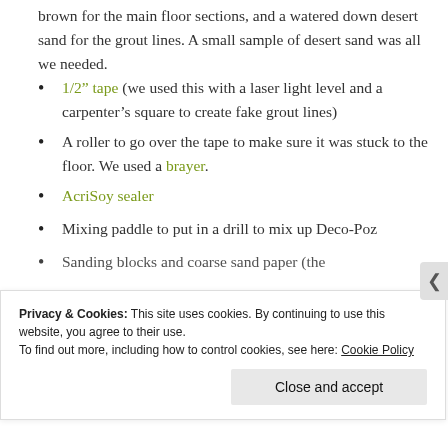brown for the main floor sections, and a watered down desert sand for the grout lines. A small sample of desert sand was all we needed.
1/2” tape (we used this with a laser light level and a carpenter’s square to create fake grout lines)
A roller to go over the tape to make sure it was stuck to the floor. We used a brayer.
AcriSoy sealer
Mixing paddle to put in a drill to mix up Deco-Poz
Sanding blocks and coarse sand paper (the
Privacy & Cookies: This site uses cookies. By continuing to use this website, you agree to their use.
To find out more, including how to control cookies, see here: Cookie Policy